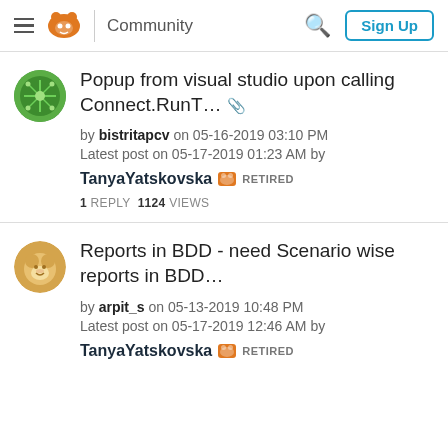Community  Sign Up
Popup from visual studio upon calling Connect.RunT... 🖇
by bistritapcv on 05-16-2019 03:10 PM
Latest post on 05-17-2019 01:23 AM by TanyaYatskovska RETIRED
1 REPLY 1124 VIEWS
Reports in BDD - need Scenario wise reports in BDD...
by arpit_s on 05-13-2019 10:48 PM
Latest post on 05-17-2019 12:46 AM by TanyaYatskovska RETIRED